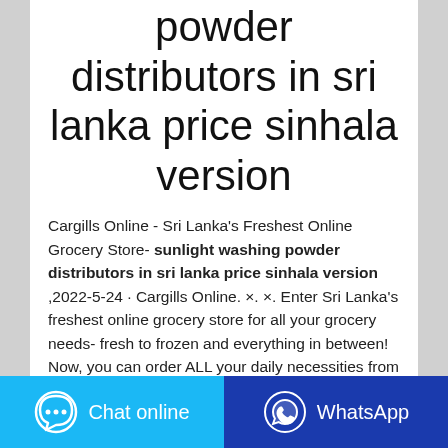powder distributors in sri lanka price sinhala version
Cargills Online - Sri Lanka's Freshest Online Grocery Store- sunlight washing powder distributors in sri lanka price sinhala version ,2022-5-24 · Cargills Online. ×. ×. Enter Sri Lanka's freshest online grocery store for all your grocery needs- fresh to frozen and everything in between! Now, you can order ALL your daily necessities from the comfort of your home or anywhere you want! Choose from same-day, next-day & saver to ensure you get what you need when you need
Chat online | WhatsApp